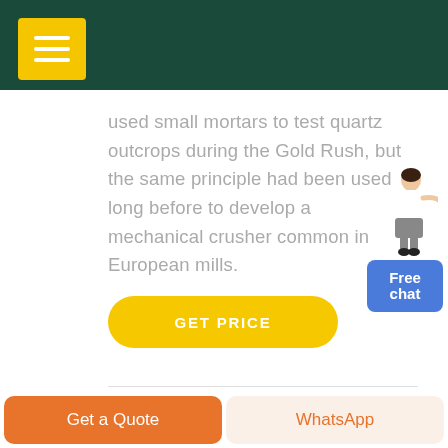[Figure (screenshot): Dark teal navigation header bar with yellow hamburger menu button (three white lines) in top-left corner]
used small mortars to test quartz outcrops during the Gold Rush, but the same principle had been used long before to develop a mechanical crusher common in European mills.
[Figure (illustration): A woman in business attire pointing, next to a blue rounded rectangle button labeled 'Free chat']
[Figure (other): Yellow rounded pill-shaped button with white bold text 'GET PRICE']
[Figure (photo): Three thumbnail photos side by side showing industrial crushing/mining machinery in outdoor settings]
[Figure (other): Bottom bar with two buttons: orange 'Get a Quote' on left, light peach 'WhatsApp' in orange text on right]